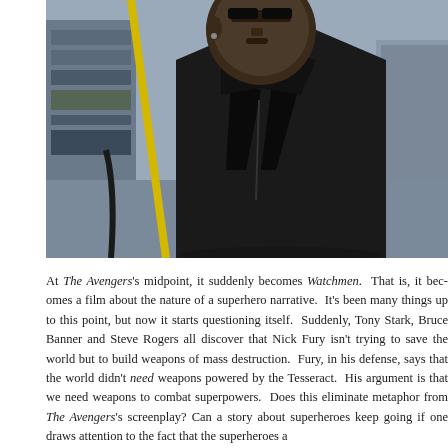[Figure (photo): A man wearing a black leather jacket and black clothing stands in what appears to be an industrial or warehouse-like room with shelving visible in the background. The image is cropped at the right edge.]
At The Avengers's midpoint, it suddenly becomes Watchmen. That is, it becomes a film about the nature of a superhero narrative. It's been many things up to this point, but now it starts questioning itself. Suddenly, Tony Stark, Bruce Banner and Steve Rogers all discover that Nick Fury isn't trying to save the world but to build weapons of mass destruction. Fury, in his defense, says that the world didn't need weapons powered by the Tesseract. His argument is that we need weapons to combat superpowers. Does this eliminate metaphor from The Avengers's screenplay? Can a story about superheroes keep going if one draws attention to the fact that the superheroes a